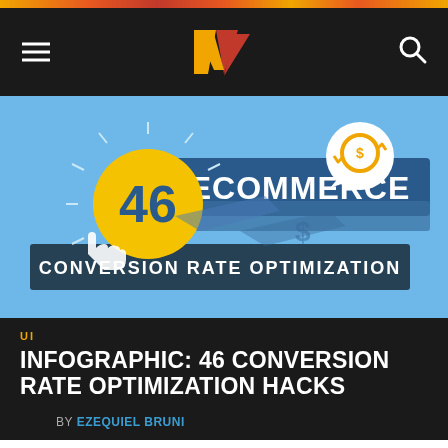[Figure (logo): Website navigation header with hamburger menu icon on left, W logo in center (orange and red chevron/arrow design), search icon on right, all on dark background]
[Figure (infographic): Blue infographic image showing '46 ECOMMERCE CONVERSION RATE OPTIMIZATION' with a large yellow circle containing the number 46, conversion arrows icon in speech bubble, dollar sign, and arrow graphics]
UI
INFOGRAPHIC: 46 CONVERSION RATE OPTIMIZATION HACKS
BY EZEQUIEL BRUNI